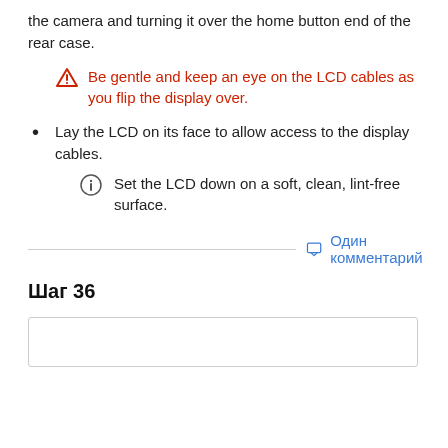the camera and turning it over the home button end of the rear case.
Be gentle and keep an eye on the LCD cables as you flip the display over.
Lay the LCD on its face to allow access to the display cables.
Set the LCD down on a soft, clean, lint-free surface.
Один комментарий
Шаг 36